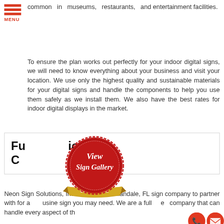MENU
common in museums, restaurants, and entertainment facilities.
To ensure the plan works out perfectly for your indoor digital signs, we will need to know everything about your business and visit your location. We use only the highest quality and sustainable materials for your digital signs and handle the components to help you use them safely as we install them. We also have the best rates for indoor digital displays in the market.
[Figure (illustration): A red wax seal badge overlapping a bordered box. The seal reads 'View Sign Gallery' in cursive script with 'CLICK HERE' on a gold ribbon banner at the bottom.]
Full Service Sign Company
Neon Sign Solutions, Inc. is the best Hallandale, FL sign company to partner with for any business sign you may need. We are a full-service company that can handle every aspect of the